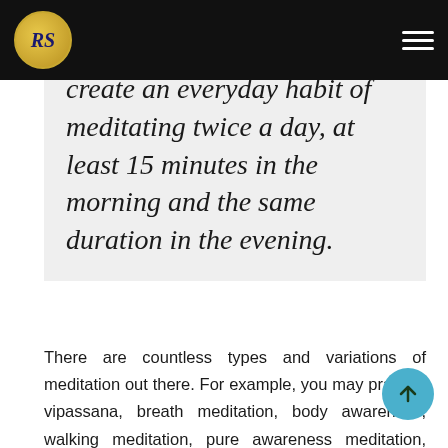RS logo and navigation bar
create an everyday habit of meditating twice a day, at least 15 minutes in the morning and the same duration in the evening.
There are countless types and variations of meditation out there. For example, you may practice vipassana, breath meditation, body awareness, walking meditation, pure awareness meditation, Kriya Yoga or something else. Or, you can concentrate your mind on something, e.g., on a single dot on the wall, on a figure of Buddha or another divine being, on a flame of a candle, etc.